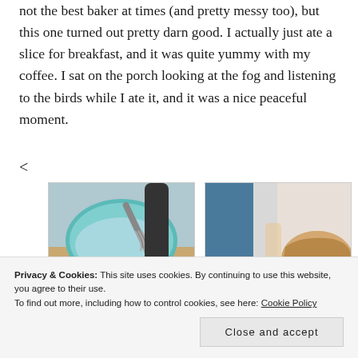not the best baker at times (and pretty messy too), but this one turned out pretty darn good. I actually just ate a slice for breakfast, and it was quite yummy with my coffee. I sat on the porch looking at the fog and listening to the birds while I ate it, and it was a nice peaceful moment.
<
[Figure (photo): A teal/green mixing bowl with a whisk inside, next to a dark appliance on a wooden surface]
[Figure (photo): A hand touching or kneading bread dough near a blue wall]
Privacy & Cookies: This site uses cookies. By continuing to use this website, you agree to their use. To find out more, including how to control cookies, see here: Cookie Policy
Close and accept